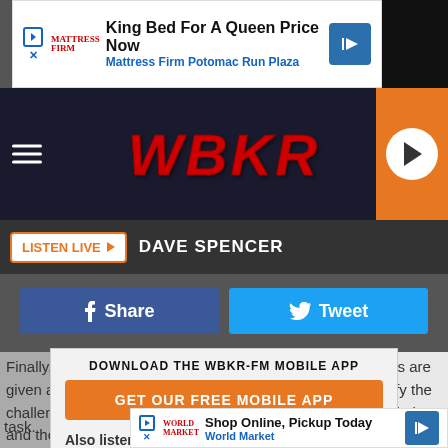[Figure (screenshot): Advertisement banner: King Bed For A Queen Price Now - Mattress Firm Potomac Run Plaza]
[Figure (logo): WBKR radio station header with hamburger menu, WBKR logo in red italic, and orange play button on right]
LISTEN LIVE  DAVE SPENCER
[Figure (screenshot): Facebook Share button and Twitter Tweet button row]
DOWNLOAD THE WBKR-FM MOBILE APP
[Figure (screenshot): GET OUR FREE MOBILE APP orange button overlay]
Also listen on:  amazon alexa
Finally, in the area of problem solving, for example, students are given a scenario 20 years in the future. They have to identify the challenges we'll face at that time and then come up with solutions and then a plan of action. Creativity is encouraged and as further proof these kids were up to having the trophy, these kids' brilliant minds were equal to the task.
[Figure (screenshot): Advertisement: Shop Online, Pickup Today - World Market]